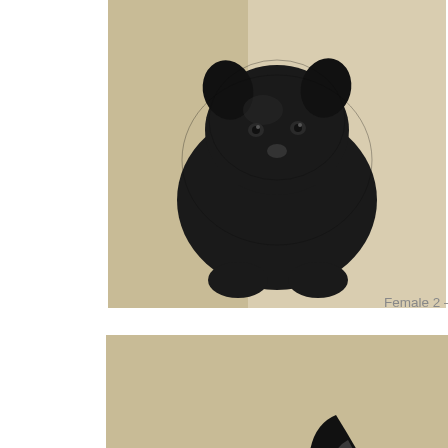[Figure (photo): Black puppy sitting on a light-colored sofa/cushion, very young, approximately 1 month old]
Female 2 – Roxy at 1 month
[Figure (photo): Black German Shepherd puppy with large ears, lying down with a toy bone, wearing a pink collar, approximately 10 weeks old]
at 10